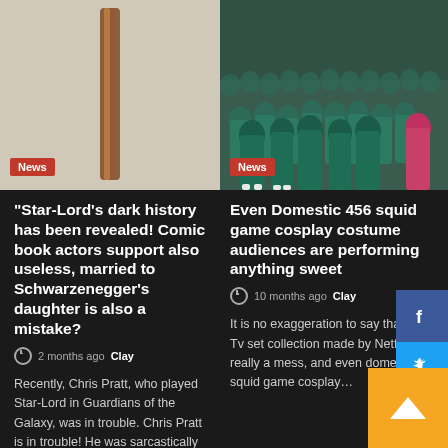[Figure (photo): Photo of a wooden stick or post against a light grey/beige background with a News badge overlay]
News
[Figure (photo): Photo of a crowd of people wearing green tracksuits (Squid Game costume), with one person in pink on the right, with a News badge overlay]
News
“Star-Lord’s dark history has been revealed! Comic book actors support also useless, married to Schwarzenegger’s daughter is also a mistake?
2 months ago  Clay
Recently, Chris Pratt, who played Star-Lord in Guardians of the Galaxy, was in trouble. Chris Pratt is in trouble! He was sarcastically criticized as
Even Domestic 456 squid game cosplay costume audiences are performing anything sweet
10 months ago  Clay
It is no exaggeration to say that this Tv set collection made by Netflix is really a mess, and even domestic 456 squid game cosplay…